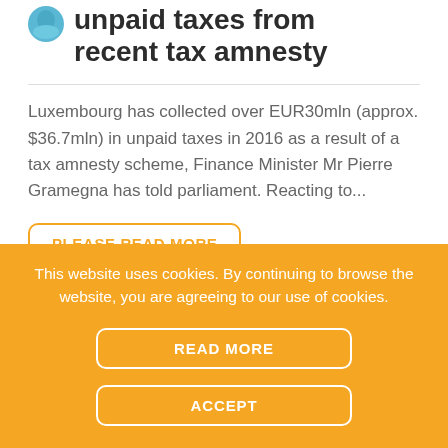unpaid taxes from recent tax amnesty
Luxembourg has collected over EUR30mln (approx. $36.7mln) in unpaid taxes in 2016 as a result of a tax amnesty scheme, Finance Minister Mr Pierre Gramegna has told parliament. Reacting to...
PLEASE READ MORE
This website uses cookies. By continuing to browse the website, you are agreeing to our use of cookies.
READ MORE
ACCEPT